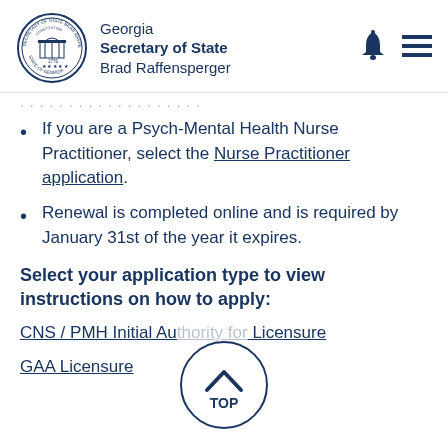Georgia Secretary of State Brad Raffensperger
If you are a Psych-Mental Health Nurse Practitioner, select the Nurse Practitioner application.
Renewal is completed online and is required by January 31st of the year it expires.
Select your application type to view instructions on how to apply:
CNS / PMH Initial Au... Licensure
GAA Licensure
[Figure (illustration): Back-to-top button overlay showing a circle with an upward chevron arrow and the text TOP]